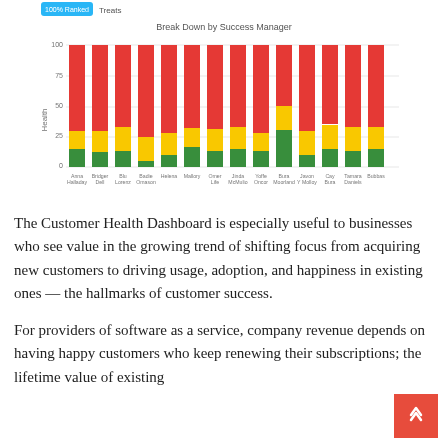[Figure (stacked-bar-chart): Break Down by Success Manager]
The Customer Health Dashboard is especially useful to businesses who see value in the growing trend of shifting focus from acquiring new customers to driving usage, adoption, and happiness in existing ones — the hallmarks of customer success.
For providers of software as a service, company revenue depends on having happy customers who keep renewing their subscriptions; the lifetime value of existing